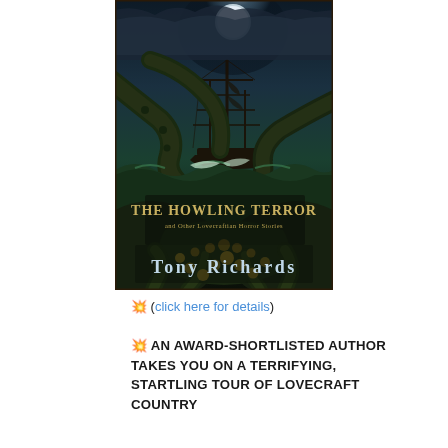[Figure (illustration): Book cover of 'The Howling Terror and Other Lovecraftian Horror Stories' by Tony Richards. Dark illustration showing a tall ship being attacked by a giant tentacled sea creature under a moonlit stormy sky, with the title text in ornate lettering and author name at the bottom.]
💥 (click here for details)
💥 AN AWARD-SHORTLISTED AUTHOR TAKES YOU ON A TERRIFYING, STARTLING TOUR OF LOVECRAFT COUNTRY